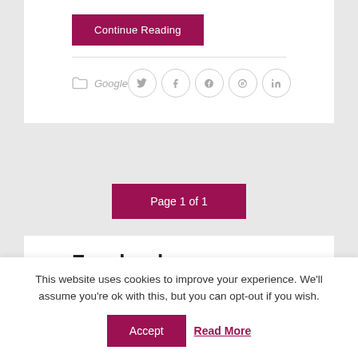Continue Reading
Google
Page 1 of 1
Facebook
This website uses cookies to improve your experience. We'll assume you're ok with this, but you can opt-out if you wish.
Accept
Read More